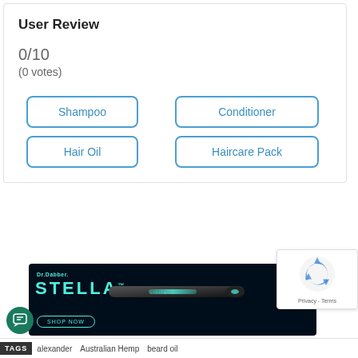User Review
0/10
(0 votes)
Shampoo
Conditioner
Hair Oil
Haircare Pack
[Figure (illustration): Dr.Dabber STELLA advertisement with pen vaporizer on dark background with Shop Now button and M badge]
[Figure (logo): reCAPTCHA privacy logo with recycling arrow icon]
Privacy - Terms
TAGS   alexander   Australian Hemp   beard oil